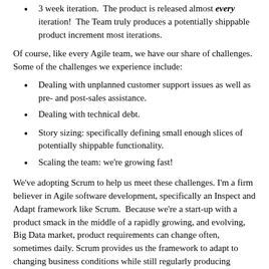3 week iteration. The product is released almost every iteration! The Team truly produces a potentially shippable product increment most iterations.
Of course, like every Agile team, we have our share of challenges. Some of the challenges we experience include:
Dealing with unplanned customer support issues as well as pre- and post-sales assistance.
Dealing with technical debt.
Story sizing: specifically defining small enough slices of potentially shippable functionality.
Scaling the team: we're growing fast!
We've adopting Scrum to help us meet these challenges. I'm a firm believer in Agile software development, specifically an Inspect and Adapt framework like Scrum. Because we're a start-up with a product smack in the middle of a rapidly growing, and evolving, Big Data market, product requirements can change often, sometimes daily. Scrum provides us the framework to adapt to changing business conditions while still regularly producing